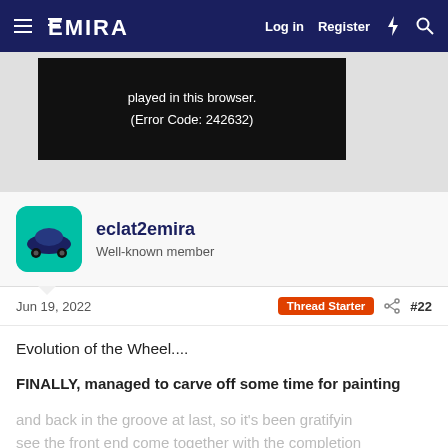EMIRA — Log in  Register
[Figure (screenshot): Video player error: 'played in this browser. (Error Code: 242632)']
eclat2emira
Well-known member
Jun 19, 2022
Thread Starter  #22
Evolution of the Wheel....
FINALLY, managed to carve off some time for painting and back in the groove at last, so it's been gratifying to see the front end come together with the completion of the front wheel